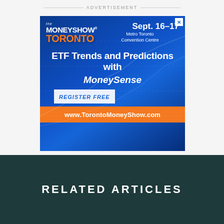ADVERTISEMENT
[Figure (infographic): The MoneyShow Toronto advertisement banner. Sept. 16-17, Metro Toronto Convention Centre. ETF Trends and Predictions with MoneySense. Register Free. www.TorontoMoneyShow.com]
RELATED ARTICLES